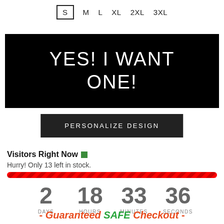S  M  L  XL  2XL  3XL
YES! I WANT ONE!
PERSONALIZE DESIGN
Visitors Right Now
Hurry! Only 13 left in stock.
2 DAYS  18 HOURS  33 MINUTES  36 SECONDS
- Guaranteed SAFE Checkout -